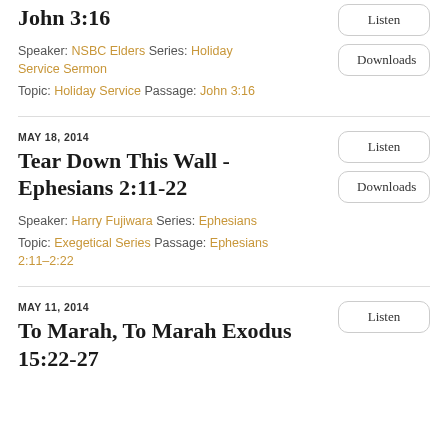John 3:16
Speaker: NSBC Elders Series: Holiday Service Sermon
Topic: Holiday Service Passage: John 3:16
MAY 18, 2014
Tear Down This Wall - Ephesians 2:11-22
Speaker: Harry Fujiwara Series: Ephesians
Topic: Exegetical Series Passage: Ephesians 2:11–2:22
MAY 11, 2014
To Marah, To Marah Exodus 15:22-27